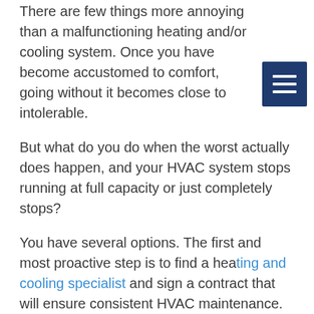There are few things more annoying than a malfunctioning heating and/or cooling system. Once you have become accustomed to comfort, going without it becomes close to intolerable.
But what do you do when the worst actually does happen, and your HVAC system stops running at full capacity or just completely stops?
You have several options. The first and most proactive step is to find a heating and cooling specialist and sign a contract that will ensure consistent HVAC maintenance. Consistent HVAC maintenance will head off any emerging problems and keep your unit running at peak efficiency for as long as possible.